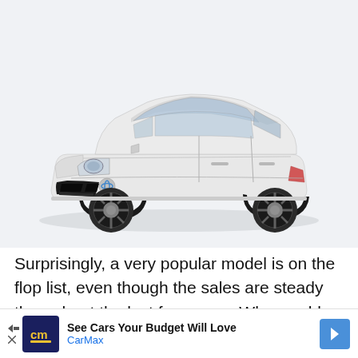[Figure (photo): White Toyota Prius hybrid car photographed from a front three-quarter angle on a white/light grey background]
Surprisingly, a very popular model is on the flop list, even though the sales are steady throughout the last few years. Why would they consider this a
[Figure (other): Advertisement banner for CarMax: 'See Cars Your Budget Will Love' with CarMax logo (cm) and blue arrow chevron icon]